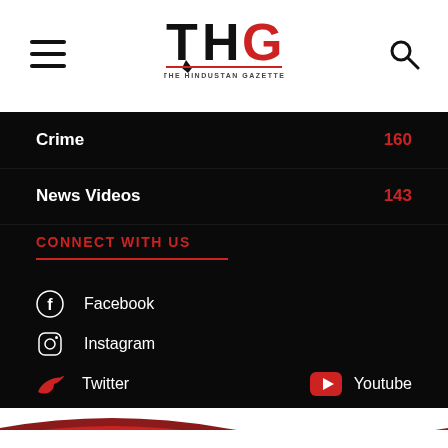THG - THE HINDUSTAN GAZETTE
Crime 160
News Videos 143
CONNECT WITH US
Facebook
Instagram
Twitter
Youtube